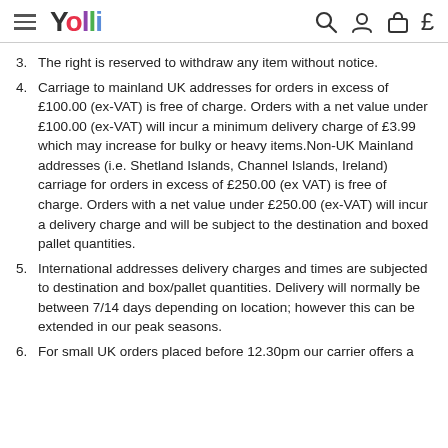Yolli
3. The right is reserved to withdraw any item without notice.
4. Carriage to mainland UK addresses for orders in excess of £100.00 (ex-VAT) is free of charge. Orders with a net value under £100.00 (ex-VAT) will incur a minimum delivery charge of £3.99 which may increase for bulky or heavy items.Non-UK Mainland addresses (i.e. Shetland Islands, Channel Islands, Ireland) carriage for orders in excess of £250.00 (ex VAT) is free of charge. Orders with a net value under £250.00 (ex-VAT) will incur a delivery charge and will be subject to the destination and boxed pallet quantities.
5. International addresses delivery charges and times are subjected to destination and box/pallet quantities. Delivery will normally be between 7/14 days depending on location; however this can be extended in our peak seasons.
6. For small UK orders placed before 12.30pm our carrier offers a